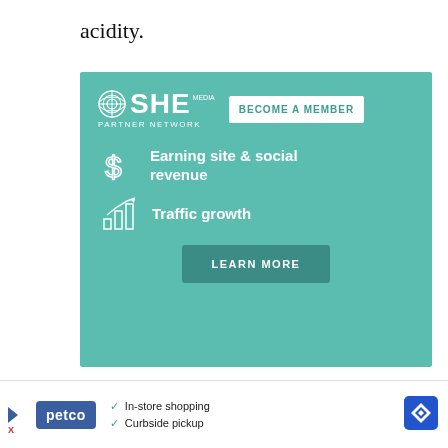acidity.
[Figure (infographic): SHE Media Partner Network advertisement with teal background. Shows SHE Media logo, 'BECOME A MEMBER' button, dollar sign icon with 'Earning site & social revenue', bar chart icon with 'Traffic growth', and a 'LEARN MORE' button.]
Dashi stock
The base of Japanese food! Here is
[Figure (infographic): Petco advertisement banner at bottom. Shows Petco logo, checkmarks for 'In-store shopping' and 'Curbside pickup', and a map/navigation icon.]